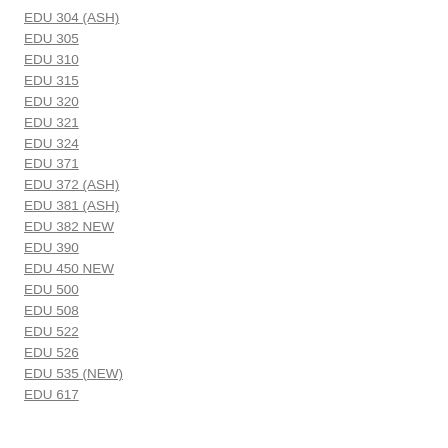EDU 304 (ASH)
EDU 305
EDU 310
EDU 315
EDU 320
EDU 321
EDU 324
EDU 371
EDU 372 (ASH)
EDU 381 (ASH)
EDU 382 NEW
EDU 390
EDU 450 NEW
EDU 500
EDU 508
EDU 522
EDU 526
EDU 535 (NEW)
EDU 617